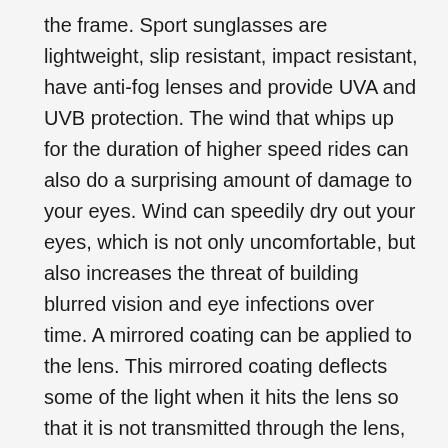the frame. Sport sunglasses are lightweight, slip resistant, impact resistant, have anti-fog lenses and provide UVA and UVB protection. The wind that whips up for the duration of higher speed rides can also do a surprising amount of damage to your eyes. Wind can speedily dry out your eyes, which is not only uncomfortable, but also increases the threat of building blurred vision and eye infections over time. A mirrored coating can be applied to the lens. This mirrored coating deflects some of the light when it hits the lens so that it is not transmitted through the lens, generating it useful in vibrant circumstances even so, it does not necessarily reflect UV radiation as properly. Mirrored coatings can be made any color by the manufacturer for styling and style purposes. The color of the mirrored surface is irrelevant to the colour of the lens. For example, a gray lens can have a blue mirror coating, and a brown lens can have a silver coating. Sunglasses of this kind are often referred to as mirrorshades. A mirror coating does not get hot in sunlight and it prevents